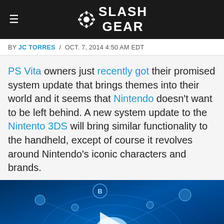SlashGear
BY JC TORRES / OCT. 7, 2014 4:50 AM EDT
PS Vita owners just recently got their promised system update that brings themes into their world and it seems that Nintendo doesn't want to be left behind. A new system update to the Nintento 3DS will bring similar functionality to the handheld, except of course it revolves around Nintendo's iconic characters and brands.
[Figure (screenshot): Video thumbnail showing a dark blue digital network/cloud computing visualization with a play button overlay]